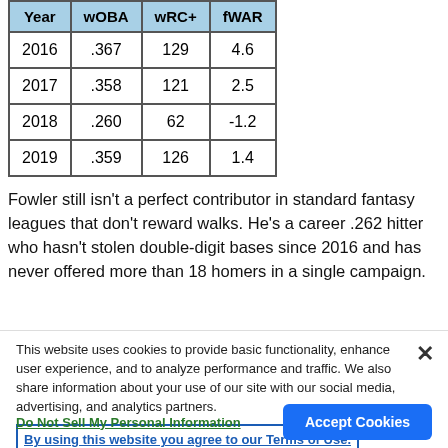| Year | wOBA | wRC+ | fWAR |
| --- | --- | --- | --- |
| 2016 | .367 | 129 | 4.6 |
| 2017 | .358 | 121 | 2.5 |
| 2018 | .260 | 62 | -1.2 |
| 2019 | .359 | 126 | 1.4 |
Fowler still isn't a perfect contributor in standard fantasy leagues that don't reward walks. He's a career .262 hitter who hasn't stolen double-digit bases since 2016 and has never offered more than 18 homers in a single campaign.
This website uses cookies to provide basic functionality, enhance user experience, and to analyze performance and traffic. We also share information about your use of our site with our social media, advertising, and analytics partners.
By using this website you agree to our Terms of Use.
Do Not Sell My Personal Information
Accept Cookies